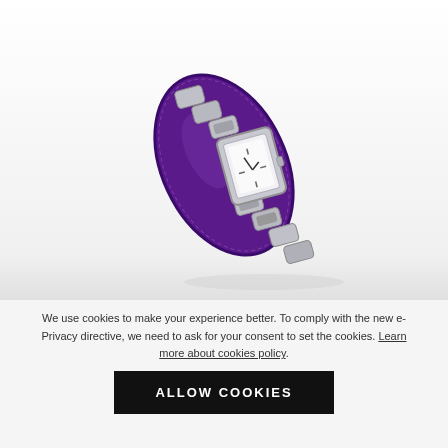[Figure (photo): A silver chain-link women's watch displayed on a tilted purple oval jewelry/watch travel case against a white to light gray gradient background.]
We use cookies to make your experience better. To comply with the new e-Privacy directive, we need to ask for your consent to set the cookies. Learn more about cookies policy.
ALLOW COOKIES